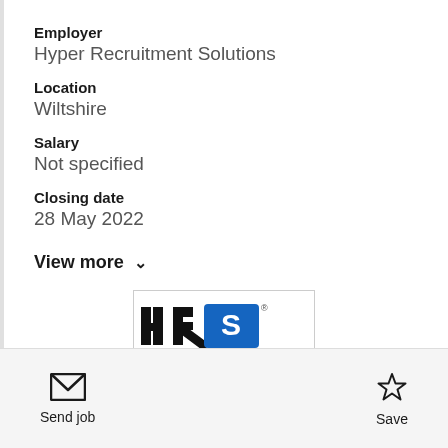Employer
Hyper Recruitment Solutions
Location
Wiltshire
Salary
Not specified
Closing date
28 May 2022
View more
[Figure (logo): HRS logo with black letters and blue rectangular element with registered trademark symbol]
Send job
Save